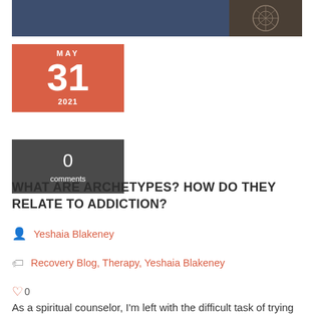[Figure (photo): Top banner image showing a person and a logo/emblem on a dark background]
MAY
31
2021
0
comments
WHAT ARE ARCHETYPES? HOW DO THEY RELATE TO ADDICTION?
Yeshaia Blakeney
Recovery Blog, Therapy, Yeshaia Blakeney
0
As a spiritual counselor, I'm left with the difficult task of trying to put words to